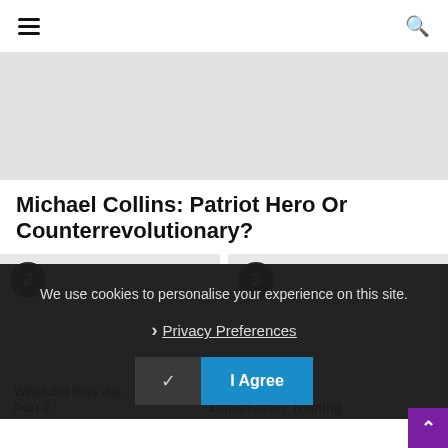☰ [menu] [search]
[Figure (photo): Gray placeholder hero image area]
Michael Collins: Patriot Hero Or Counterrevolutionary?
2  3
We use cookies to personalise your experience on this site.
› Privacy Preferences
✓  I Agree
What did they die  [Part 2]  [British Army Training]
ne: What is the British Army Training [?]